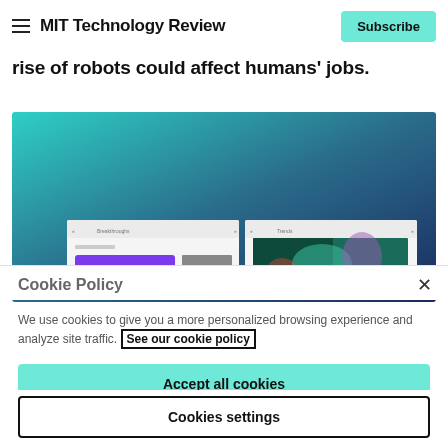MIT Technology Review — Subscribe
rise of robots could affect humans' jobs.
[Figure (screenshot): Screenshot of MIT Technology Review website showing two article panels with teal-to-dark-blue gradient background header, displaying Breakthroughs and Trends sections]
Cookie Policy
We use cookies to give you a more personalized browsing experience and analyze site traffic. See our cookie policy
Accept all cookies
Cookies settings